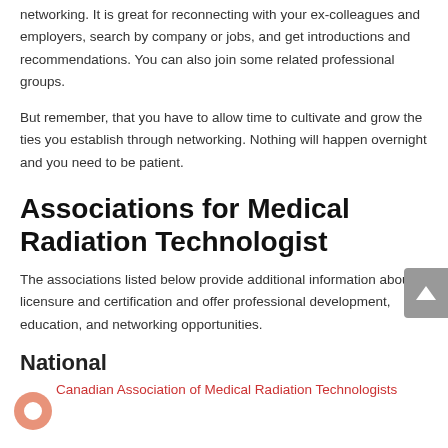networking. It is great for reconnecting with your ex-colleagues and employers, search by company or jobs, and get introductions and recommendations. You can also join some related professional groups.
But remember, that you have to allow time to cultivate and grow the ties you establish through networking. Nothing will happen overnight and you need to be patient.
Associations for Medical Radiation Technologist
The associations listed below provide additional information about licensure and certification and offer professional development, education, and networking opportunities.
National
Canadian Association of Medical Radiation Technologists